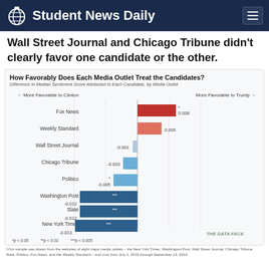Student News Daily
Wall Street Journal and Chicago Tribune didn't clearly favor one candidate or the other.
[Figure (bar-chart): How Favorably Does Each Media Outlet Treat the Candidates?]
*p < 0.05   **p < 0.01   ***p < 0.005
†Our sample was drawn from the websites of eight major media outlets – the New York Times, Washington Post, Wall Street Journal, Chicago Tribune, Slate, Politico, Fox News, and the Weekly Standard – and runs from July 1, 2015 through September 13, 2016.